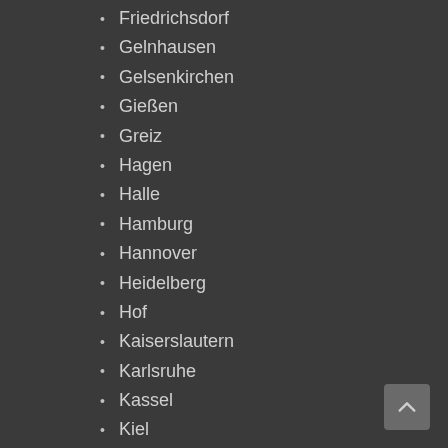Friedrichsdorf
Gelnhausen
Gelsenkirchen
Gießen
Greiz
Hagen
Halle
Hamburg
Hannover
Heidelberg
Hof
Kaiserslautern
Karlsruhe
Kassel
Kiel
Koblenz
Krefeld
Künzelsau
Leipzig
Lübeck